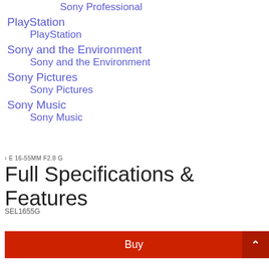Sony Professional
PlayStation
PlayStation
Sony and the Environment
Sony and the Environment
Sony Pictures
Sony Pictures
Sony Music
Sony Music
< E 16-55MM F2.8 G
Full Specifications & Features
SEL1655G
Buy